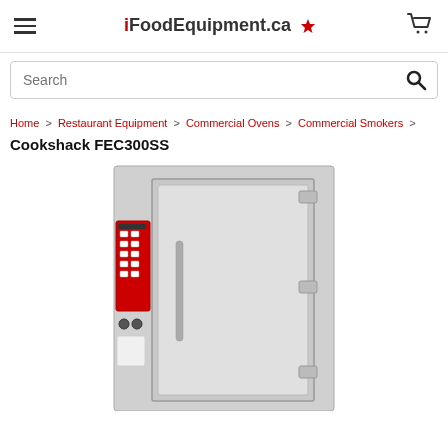iFoodEquipment.ca
Search
Home > Restaurant Equipment > Commercial Ovens > Commercial Smokers >
Cookshack FEC300SS
[Figure (photo): Cookshack FEC300SS commercial smoker oven in stainless steel, front view showing door, handle, control panel with red keypad, and latch hardware.]